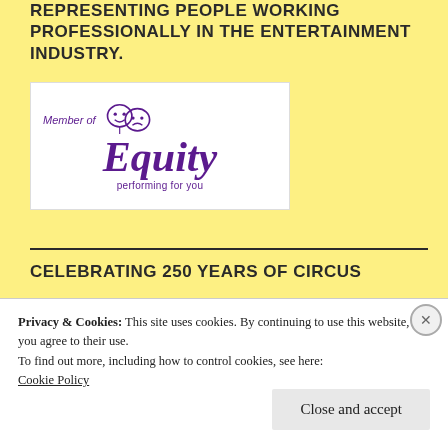REPRESENTING PEOPLE WORKING PROFESSIONALLY IN THE ENTERTAINMENT INDUSTRY.
[Figure (logo): Equity union logo with theatre comedy/tragedy masks. Text reads 'Member of Equity performing for you' in purple on white background.]
CELEBRATING 250 YEARS OF CIRCUS
Privacy & Cookies: This site uses cookies. By continuing to use this website, you agree to their use.
To find out more, including how to control cookies, see here:
Cookie Policy
Close and accept